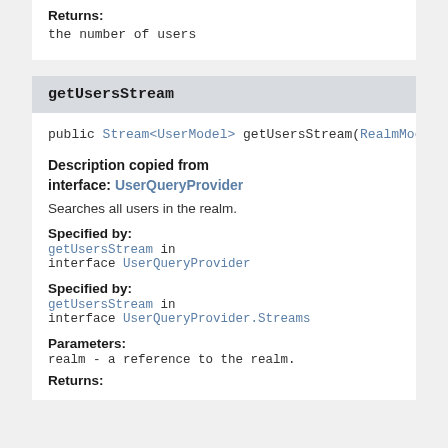Returns:
the number of users
getUsersStream
public Stream<UserModel> getUsersStream(RealmMode
Description copied from interface: UserQueryProvider
Searches all users in the realm.
Specified by:
getUsersStream in interface UserQueryProvider
Specified by:
getUsersStream in interface UserQueryProvider.Streams
Parameters:
realm - a reference to the realm.
Returns: